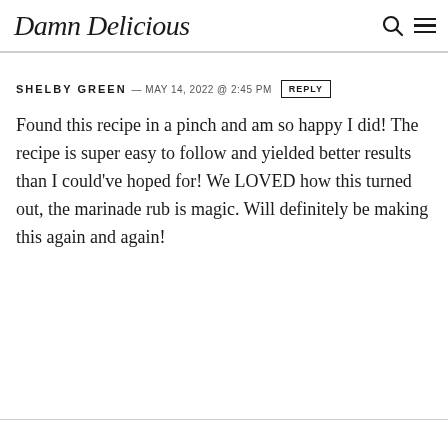Damn Delicious
SHELBY GREEN — MAY 14, 2022 @ 2:45 PM REPLY
Found this recipe in a pinch and am so happy I did! The recipe is super easy to follow and yielded better results than I could've hoped for! We LOVED how this turned out, the marinade rub is magic. Will definitely be making this again and again!